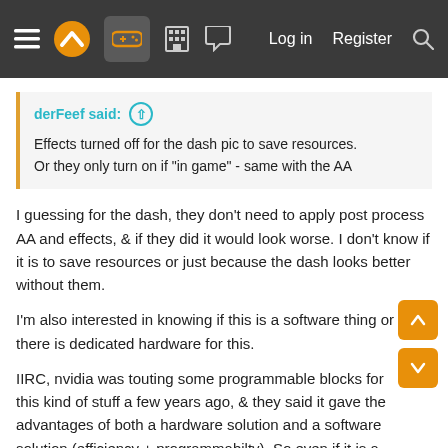Navigation bar with menu, logo, game icon, building icon, chat icon, Log in, Register, Search
derFeef said: ↑
Effects turned off for the dash pic to save resources.
Or they only turn on if "in game" - same with the AA
I guessing for the dash, they don't need to apply post process AA and effects, & if they did it would look worse. I don't know if it is to save resources or just because the dash looks better without them.
I'm also interested in knowing if this is a software thing or if there is dedicated hardware for this.
IIRC, nvidia was touting some programmable blocks for this kind of stuff a few years ago, & they said it gave the advantages of both a hardware solution and a software solution (efficiency + programmabilty). So even if it is a hardware thing, it might still be tuneable by developers with sufficient resources.